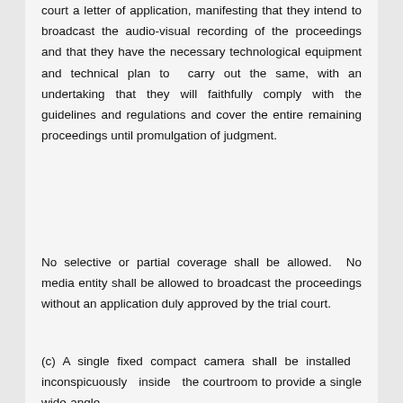court a letter of application, manifesting that they intend to broadcast the audio-visual recording of the proceedings and that they have the necessary technological equipment and technical plan to carry out the same, with an undertaking that they will faithfully comply with the guidelines and regulations and cover the entire remaining proceedings until promulgation of judgment.
No selective or partial coverage shall be allowed. No media entity shall be allowed to broadcast the proceedings without an application duly approved by the trial court.
(c) A single fixed compact camera shall be installed inconspicuously inside the courtroom to provide a single wide-angle